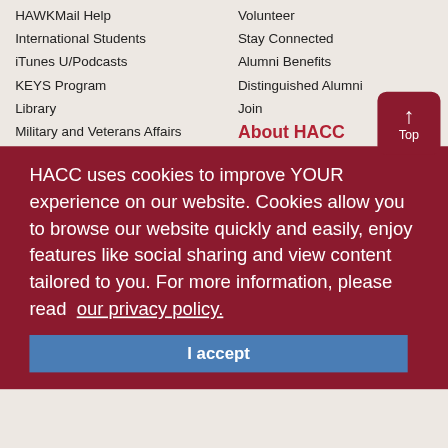HAWKMail Help
International Students
iTunes U/Podcasts
KEYS Program
Library
Military and Veterans Affairs
Registration Dates and Deadlines
Scholarships
Student Activities
Volunteer
Stay Connected
Alumni Benefits
Distinguished Alumni
Join
About HACC
2019-22 Strategic Plan
HACC uses cookies to improve YOUR experience on our website. Cookies allow you to browse our website quickly and easily, enjoy features like social sharing and view content tailored to you. For more information, please read our privacy policy.
I accept